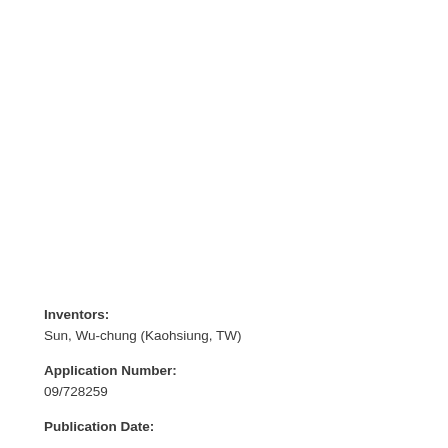Inventors:
Sun, Wu-chung (Kaohsiung, TW)
Application Number:
09/728259
Publication Date: